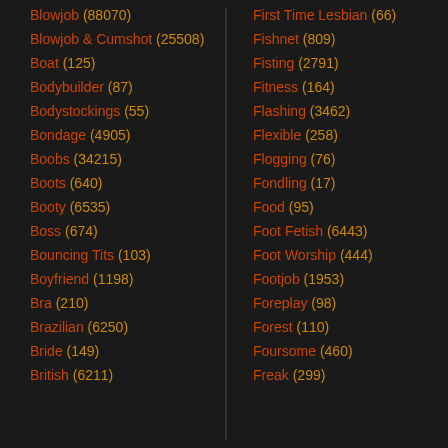Blowjob (88070)
Blowjob & Cumshot (25508)
Boat (125)
Bodybuilder (87)
Bodystockings (55)
Bondage (4905)
Boobs (34215)
Boots (640)
Booty (6535)
Boss (674)
Bouncing Tits (103)
Boyfriend (1198)
Bra (210)
Brazilian (6250)
Bride (149)
British (6211)
First Time Lesbian (66)
Fishnet (809)
Fisting (2791)
Fitness (164)
Flashing (3462)
Flexible (258)
Flogging (76)
Fondling (17)
Food (95)
Foot Fetish (6443)
Foot Worship (444)
Footjob (1953)
Foreplay (98)
Forest (110)
Foursome (460)
Freak (299)